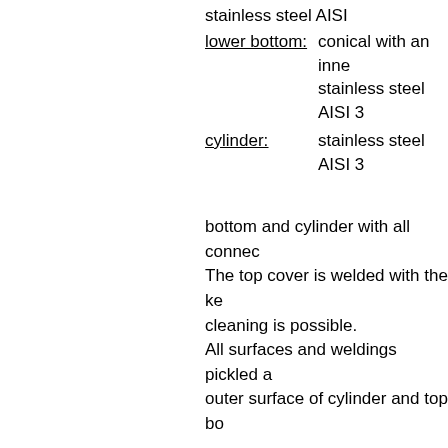lower bottom: conical with an inne stainless steel AISI 3
cylinder: stainless steel AISI 3
bottom and cylinder with all connec The top cover is welded with the ke cleaning is possible. All surfaces and weldings pickled a outer surface of cylinder and top bo